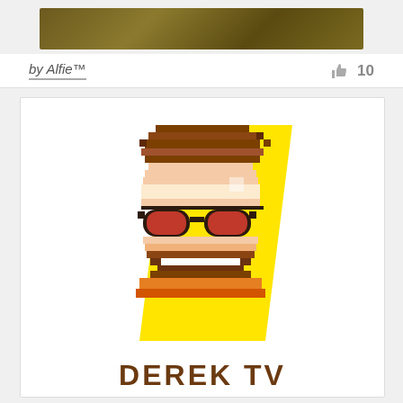[Figure (illustration): Top banner image with dark golden/olive background, partially visible]
by Alfie™
👍 10
[Figure (illustration): Pixel art style illustration of a man with brown hair, red round sunglasses, beard, orange shirt, on a yellow diagonal background. Text below reads DEREK TV.]